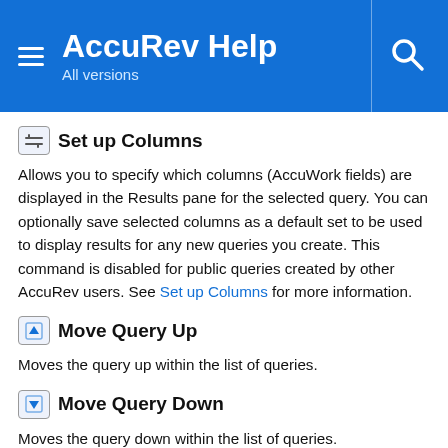AccuRev Help — All versions
Set up Columns
Allows you to specify which columns (AccuWork fields) are displayed in the Results pane for the selected query. You can optionally save selected columns as a default set to be used to display results for any new queries you create. This command is disabled for public queries created by other AccuRev users. See Set up Columns for more information.
Move Query Up
Moves the query up within the list of queries.
Move Query Down
Moves the query down within the list of queries.